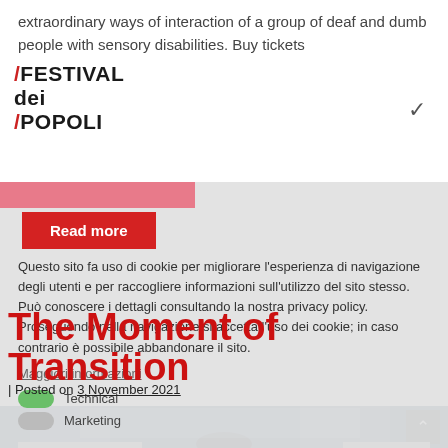extraordinary ways of interaction of a group of deaf and dumb people with sensory disabilities. Buy tickets
[Figure (logo): Festival dei Popoli logo with red slash marks]
Questo sito fa uso di cookie per migliorare l'esperienza di navigazione degli utenti e per raccogliere informazioni sull'utilizzo del sito stesso. Può conoscere i dettagli consultando la nostra privacy policy. Proseguendo nella navigazione si accetta l'uso dei cookie; in caso contrario è possibile abbandonare il sito.
Maggiori informazioni
Technical
Marketing
Save Settings
Accetto
The Moment of Transition
| Posted on 3 November 2021
[Figure (photo): Silhouette of person from behind looking out through window curtains, dark atmospheric image]